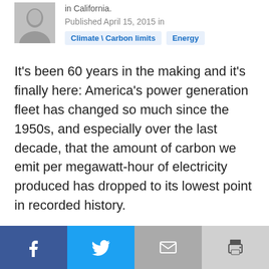in California.
Published April 15, 2015 in
Climate \ Carbon limits | Energy
It's been 60 years in the making and it's finally here: America's power generation fleet has changed so much since the 1950s, and especially over the last decade, that the amount of carbon we emit per megawatt-hour of electricity produced has dropped to its lowest point in recorded history.
In fact, 2015 could be the cleanest ever for our
[Figure (other): Social share bar with Facebook, Twitter, Email, and Print buttons]